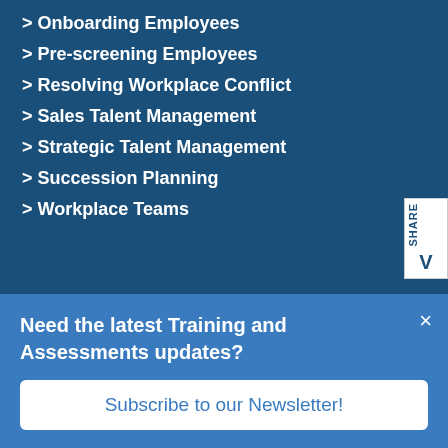> Onboarding Employees
> Pre-screening Employees
> Resolving Workplace Conflict
> Sales Talent Management
> Strategic Talent Management
> Succession Planning
> Workplace Teams
About Us
> History
> Department Heads
Need the latest Training and Assessments updates?
Subscribe to our Newsletter!